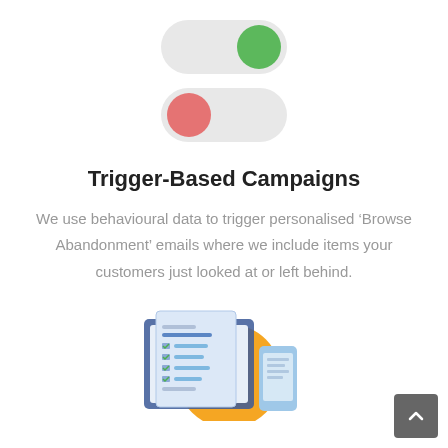[Figure (illustration): Two toggle switches: the top one is turned ON (green knob on the right), the bottom one is turned OFF (red/pink knob on the left). Both have a light gray pill-shaped background.]
Trigger-Based Campaigns
We use behavioural data to trigger personalised ‘Browse Abandonment’ emails where we include items your customers just looked at or left behind.
[Figure (illustration): An illustration of a checklist/document with checkmarks on a tablet device, an orange circle in the background, and a smartphone on the right side.]